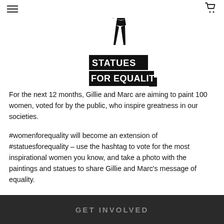Navigation header with hamburger menu and cart icon
[Figure (logo): Statues for Equality logo: silhouette of a woman with arm raised above blocks reading STATUES FOR EQUALITY]
For the next 12 months, Gillie and Marc are aiming to paint 100 women, voted for by the public, who inspire greatness in our societies.
#womenforequality will become an extension of #statuesforequality – use the hashtag to vote for the most inspirational women you know, and take a photo with the paintings and statues to share Gillie and Marc's message of equality.
GET INVOLVED